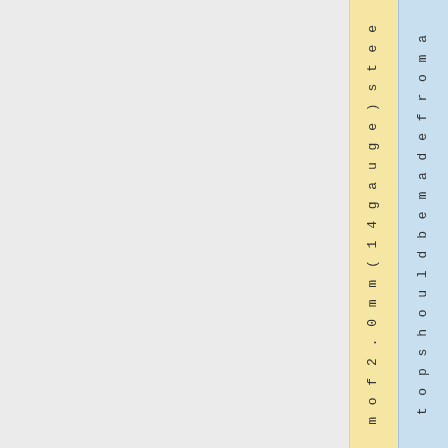| m o f 2 . 0 m m ( 1 4 g a u g e ) s t e e | t o p s h o u l d b e m a d e f r o m a |